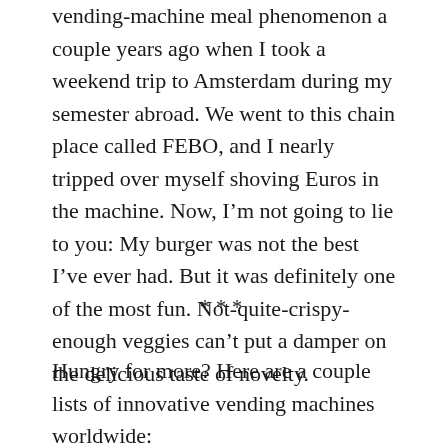vending-machine meal phenomenon a couple years ago when I took a weekend trip to Amsterdam during my semester abroad. We went to this chain place called FEBO, and I nearly tripped over myself shoving Euros in the machine. Now, I'm not going to lie to you: My burger was not the best I've ever had. But it was definitely one of the most fun. Not-quite-crispy-enough veggies can't put a damper on the delicious taste of novelty.
***
Hungry for more? Here are a couple lists of innovative vending machines worldwide: